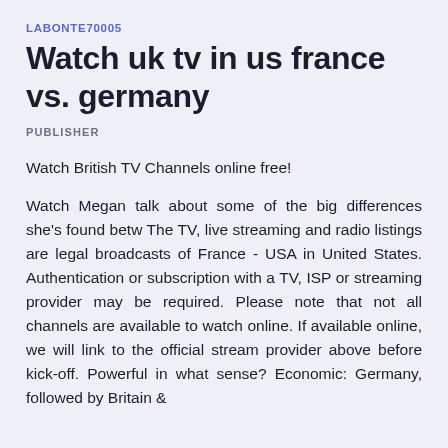LABONTE70005
Watch uk tv in us france vs. germany
PUBLISHER
Watch British TV Channels online free!
Watch Megan talk about some of the big differences she's found betw The TV, live streaming and radio listings are legal broadcasts of France - USA in United States. Authentication or subscription with a TV, ISP or streaming provider may be required. Please note that not all channels are available to watch online. If available online, we will link to the official stream provider above before kick-off. Powerful in what sense? Economic: Germany, followed by Britain &